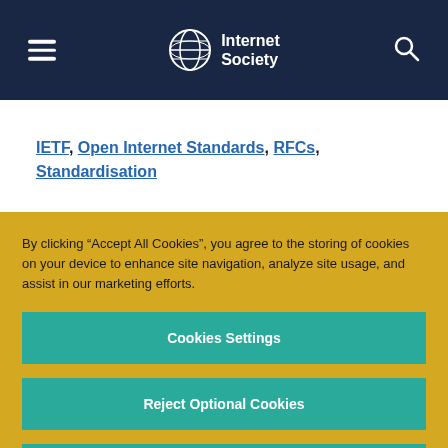Internet Society — Navigation bar with hamburger menu and search icon
IETF, Open Internet Standards, RFCs, Standardisation
By clicking “Accept All Cookies”, you agree to the storing of cookies on your device to enhance site navigation, analyze site usage, and assist in our marketing efforts.
Cookies Settings
Reject Optional Cookies
Accept All Cookies